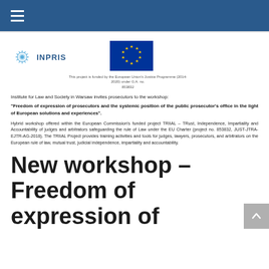Navigation menu bar with hamburger icon
[Figure (logo): INPRIS logo with circular starburst graphic and text INPRIS]
[Figure (logo): European Union flag with blue background and yellow stars]
This project is funded by the European Union's Justice Programme (2014-2020) under G.A. no. 853832
Institute for Law and Society in Warsaw invites prosecutors to the workshop:
"Freedom of expression of prosecutors and the systemic position of the public prosecutor's office in the light of European solutions and experiences".
Hybrid workshop offered within the European Commission's funded project TRIIAL – TRust, Independence, Impartiality and Accountability of judges and arbitrators safeguarding the rule of Law under the EU Charter (project no. 853832, JUST-JTRA-EJTR-AG-2018). The TRIIAL Project provides training activities and tools for judges, lawyers, prosecutors, and arbitrators on the European rule of law, mutual trust, judicial independence, impartiality and accountability.
New workshop – Freedom of expression of